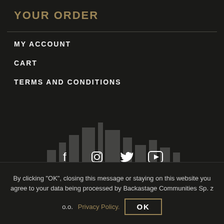YOUR ORDER
MY ACCOUNT
CART
TERMS AND CONDITIONS
[Figure (logo): Dark band/logo silhouette graphic in background]
[Figure (infographic): Social media icons: Facebook, Instagram, Twitter, YouTube]
OFFICIAL RIVERSIDE STORE MAINTAINED BY SHELTER OF MINE FANCLUB
By clicking "OK", closing this message or staying on this website you agree to your data being processed by Backastage Communities Sp. z o.o. Privacy Policy.